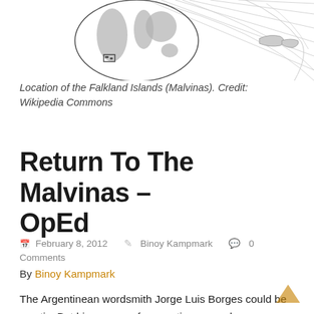[Figure (map): Map showing the location of the Falkland Islands (Malvinas) on a world globe, with a detail inset and geographic lines in the background.]
Location of the Falkland Islands (Malvinas). Credit: Wikipedia Commons
Return To The Malvinas – OpEd
February 8, 2012   Binoy Kampmark   0 Comments
By Binoy Kampmark
The Argentinean wordsmith Jorge Luis Borges could be cryptic. But his powers of perception were always daunting. The 10-week conflict in 1982 that took place over the Falklands, or the Malvinas, as the Argentineans prefer to call it, has provided the participants in the Anglo-Argentine war with